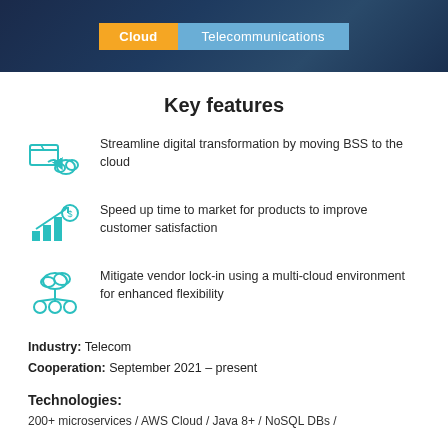[Figure (other): Header banner with dark blue background showing two category tags: 'Cloud' (yellow/orange) and 'Telecommunications' (light blue)]
Key features
Streamline digital transformation by moving BSS to the cloud
Speed up time to market for products to improve customer satisfaction
Mitigate vendor lock-in using a multi-cloud environment for enhanced flexibility
Industry: Telecom
Cooperation: September 2021 – present
Technologies:
200+ microservices / AWS Cloud / Java 8+ / NoSQL DBs /